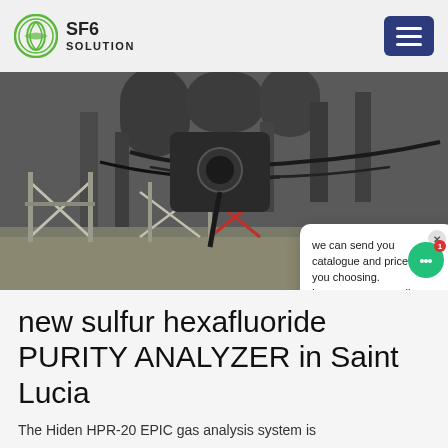SF6 SOLUTION
[Figure (photo): Industrial electrical substation equipment with large cylindrical components, cables, and metal structures. A chat widget overlay is visible in the lower-right of the image with text: 'we can send you catalogue and price list for you choosing. Leave us your email or whatsapp .' from SF6 Expert, just now.]
new sulfur hexafluoride PURITY ANALYZER in Saint Lucia
The Hiden HPR-20 EPIC gas analysis system is